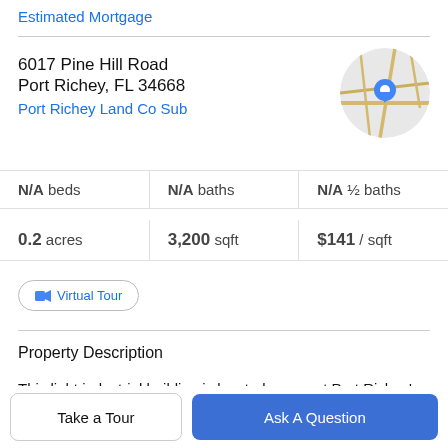Estimated Mortgage
6017 Pine Hill Road
Port Richey, FL 34668
Port Richey Land Co Sub
[Figure (map): Circular map thumbnail with road lines and a blue location pin marker over Port Richey area.]
| Beds | Baths | Half Baths |
| --- | --- | --- |
| N/A beds | N/A baths | N/A ½ baths |
| 0.2 acres | 3,200 sqft | $141 / sqft |
Virtual Tour
Property Description
This light industrial building is located amongst Port Richey's busiest and accessible business park areas. This
Take a Tour
Ask A Question